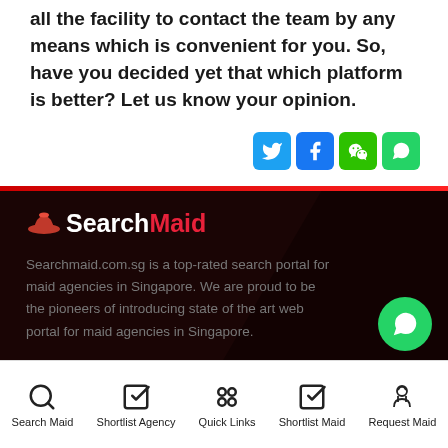all the facility to contact the team by any means which is convenient for you. So, have you decided yet that which platform is better? Let us know your opinion.
[Figure (other): Social media share icons: Twitter (blue), Facebook (blue), WeChat (green), WhatsApp (green)]
[Figure (logo): SearchMaid logo with maid hat icon, Search in white and Maid in red]
Searchmaid.com.sg is a top-rated search portal for maid agencies in Singapore. We are proud to be the pioneers of introducing state of the art web portal for maid agencies in Singapore.
Search Maid | Shortlist Agency | Quick Links | Shortlist Maid | Request Maid